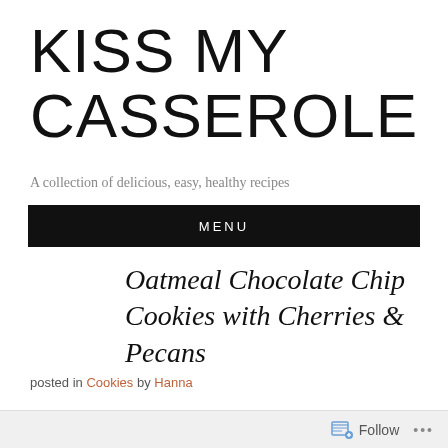KISS MY CASSEROLE
A collection of delicious, easy, healthy recipes
MENU
Oatmeal Chocolate Chip Cookies with Cherries & Pecans
posted in Cookies by Hanna
You can always come up with a good reason to bake cookies.
Follow ...